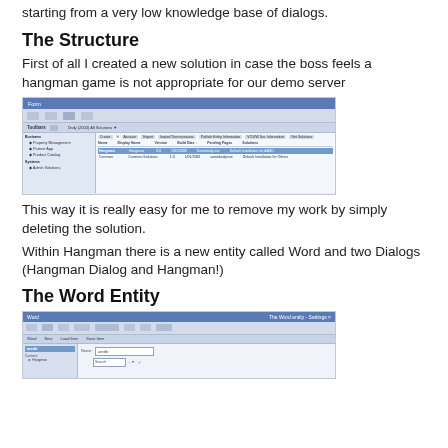starting from a very low knowledge base of dialogs.
The Structure
First of all I created a new solution in case the boss feels a hangman game is not appropriate for our demo server
[Figure (screenshot): Screenshot of a Visual Studio or similar IDE solution explorer showing a solution with Business and System sections, including items like Hangman and Common solutions]
This way it is really easy for me to remove my work by simply deleting the solution.
Within Hangman there is a new entity called Word and two Dialogs (Hangman Dialog and Hangman!)
The Word Entity
[Figure (screenshot): Screenshot of an IDE or form editor showing a Word entity with a field named 'arcdir']